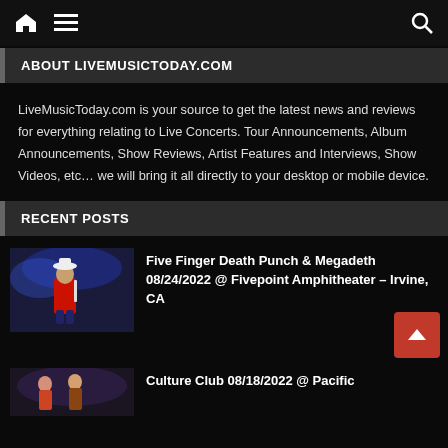Navigation bar with home icon, menu icon, and search icon
ABOUT LIVEMUSICTODAY.COM
LiveMusicToday.com is your source to get the latest news and reviews for everything relating to Live Concerts. Tour Announcements, Album Announcements, Show Reviews, Artist Features and Interviews, Show Videos, etc... we will bring it all directly to your desktop or mobile device.
RECENT POSTS
[Figure (photo): Concert photo of a performer on stage wearing red outfit and white hat, holding a microphone]
Five Finger Death Punch & Megadeth 08/24/2022 @ Fivepoint Amphitheater – Irvine, CA
[Figure (photo): Partial concert photo showing performers on stage]
Culture Club 08/18/2022 @ Pacific